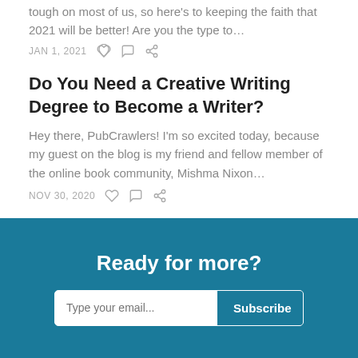tough on most of us, so here's to keeping the faith that 2021 will be better! Are you the type to…
JAN 1, 2021
Do You Need a Creative Writing Degree to Become a Writer?
Hey there, PubCrawlers! I'm so excited today, because my guest on the blog is my friend and fellow member of the online book community, Mishma Nixon…
NOV 30, 2020
See all ›
Ready for more?
Type your email... Subscribe